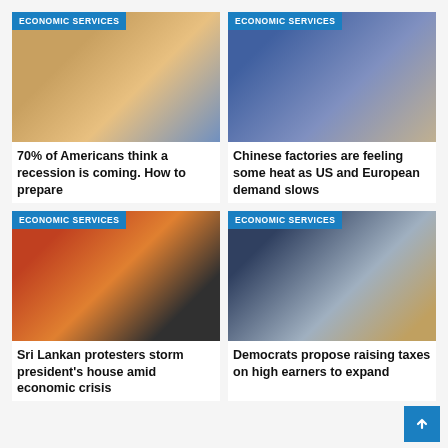[Figure (photo): Person with backpack shopping in a grocery store aisle, viewed from behind, with 'ECONOMIC SERVICES' badge]
70% of Americans think a recession is coming. How to prepare
[Figure (photo): Workers in blue uniforms at a factory, with 'ECONOMIC SERVICES' badge]
Chinese factories are feeling some heat as US and European demand slows
[Figure (photo): Crowd of protesters on motorcycles at night, with 'ECONOMIC SERVICES' badge]
Sri Lankan protesters storm president's house amid economic crisis
[Figure (photo): US Capitol building dome against blue sky, with 'ECONOMIC SERVICES' badge]
Democrats propose raising taxes on high earners to expand